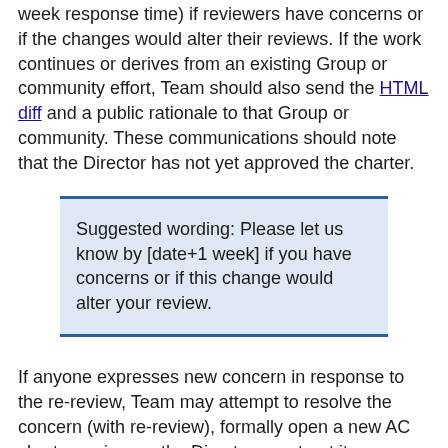week response time) if reviewers have concerns or if the changes would alter their reviews. If the work continues or derives from an existing Group or community effort, Team should also send the HTML diff and a public rationale to that Group or community. These communications should note that the Director has not yet approved the charter.
Suggested wording: Please let us know by [date+1 week] if you have concerns or if this change would alter your review.
If anyone expresses new concern in response to the re-review, Team may attempt to resolve the concern (with re-review), formally open a new AC charter review, or the Director may treat it as an objection and overrule it.
If there are substantive changes, before any announcement, the staff: